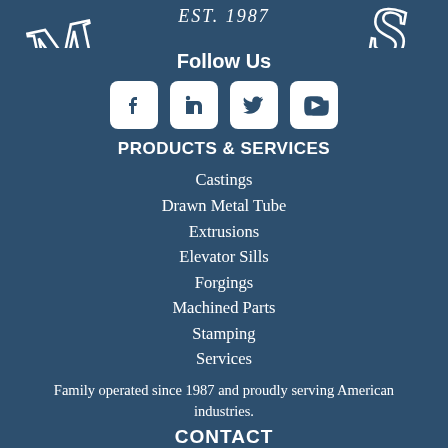[Figure (logo): Metals company logo with EST. 1987 and stylized METALS lettering in white on dark blue background]
Follow Us
[Figure (infographic): Social media icons: Facebook, LinkedIn, Twitter, YouTube - white rounded square icons]
PRODUCTS & SERVICES
Castings
Drawn Metal Tube
Extrusions
Elevator Sills
Forgings
Machined Parts
Stamping
Services
Family operated since 1987 and proudly serving American industries.
CONTACT